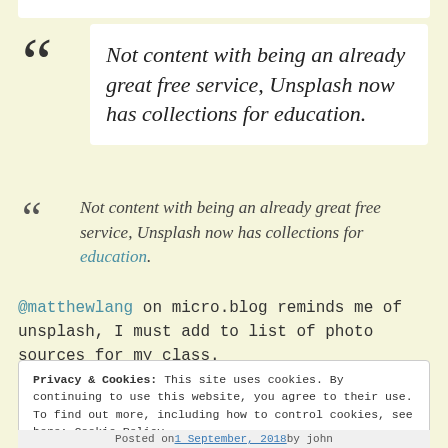Not content with being an already great free service, Unsplash now has collections for education.
Not content with being an already great free service, Unsplash now has collections for education.
@matthewlang on micro.blog reminds me of unsplash, I must add to list of photo sources for my class.
Privacy & Cookies: This site uses cookies. By continuing to use this website, you agree to their use. To find out more, including how to control cookies, see here: Cookie Policy
Posted on 1 September, 2018 by john